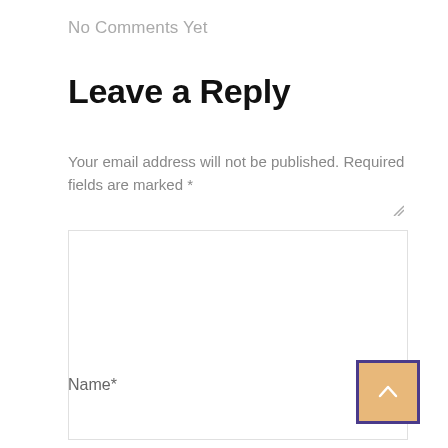No Comments Yet
Leave a Reply
Your email address will not be published. Required fields are marked *
Name*